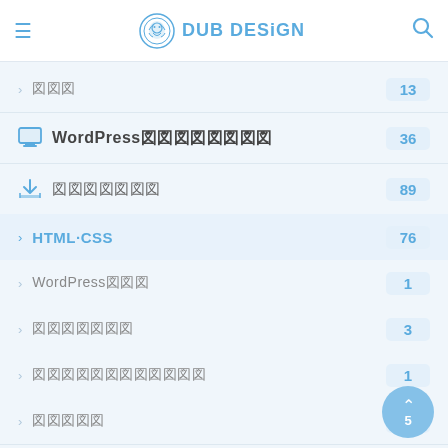DUB DESiGN
□□□ 13
WordPress□□□□□□□□ 36
□□□□□□□ 89
HTML□CSS 76
WordPress□□□ 1
□□□□□□□ 3
□□□□□□□□□□□□ 1
□□□□□ 7
□□□□□ 5
□□□□□ 5